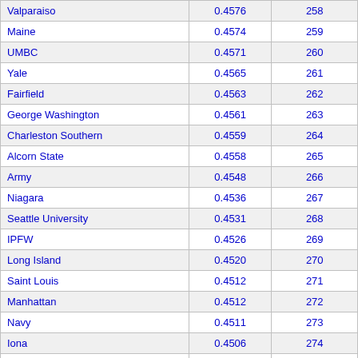| Valparaiso | 0.4576 | 258 |
| Maine | 0.4574 | 259 |
| UMBC | 0.4571 | 260 |
| Yale | 0.4565 | 261 |
| Fairfield | 0.4563 | 262 |
| George Washington | 0.4561 | 263 |
| Charleston Southern | 0.4559 | 264 |
| Alcorn State | 0.4558 | 265 |
| Army | 0.4548 | 266 |
| Niagara | 0.4536 | 267 |
| Seattle University | 0.4531 | 268 |
| IPFW | 0.4526 | 269 |
| Long Island | 0.4520 | 270 |
| Saint Louis | 0.4512 | 271 |
| Manhattan | 0.4512 | 272 |
| Navy | 0.4511 | 273 |
| Iona | 0.4506 | 274 |
| Monmouth | 0.4498 | 275 |
| Massachusetts-Lowell | 0.4483 | 276 |
| Marist | 0.4480 | 277 |